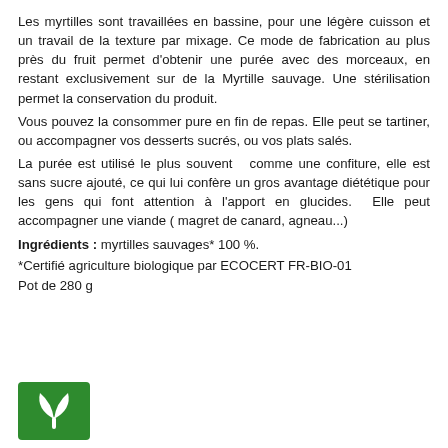Les myrtilles sont travaillées en bassine, pour une légère cuisson et un travail de la texture par mixage. Ce mode de fabrication au plus près du fruit permet d'obtenir une purée avec des morceaux, en restant exclusivement sur de la Myrtille sauvage. Une stérilisation permet la conservation du produit.
Vous pouvez la consommer pure en fin de repas. Elle peut se tartiner, ou accompagner vos desserts sucrés, ou vos plats salés.
La purée est utilisé le plus souvent  comme une confiture, elle est sans sucre ajouté, ce qui lui confère un gros avantage diététique pour les gens qui font attention à l'apport en glucides.  Elle peut accompagner une viande ( magret de canard, agneau...)
Ingrédients : myrtilles sauvages* 100 %.
*Certifié agriculture biologique par ECOCERT FR-BIO-01
Pot de 280 g
[Figure (logo): Green square logo with a white stylized leaf/plant icon]